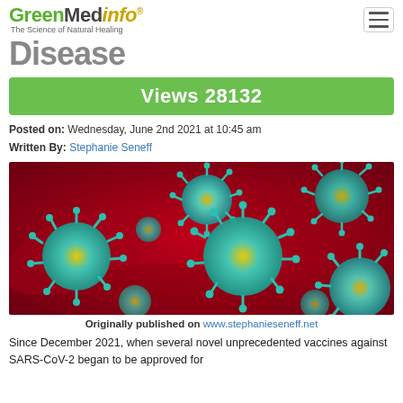GreenMedinfo - The Science of Natural Healing
Disease
Views 28132
Posted on: Wednesday, June 2nd 2021 at 10:45 am
Written By: Stephanie Seneff
[Figure (photo): Microscopic image of teal/cyan coronavirus particles on a red background]
Originally published on www.stephanieseneff.net
Since December 2021, when several novel unprecedented vaccines against SARS-CoV-2 began to be approved for